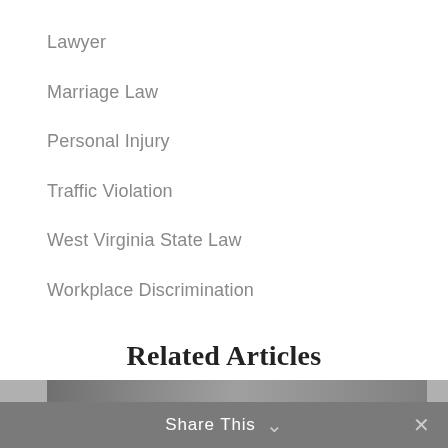Lawyer
Marriage Law
Personal Injury
Traffic Violation
West Virginia State Law
Workplace Discrimination
Related Articles
[Figure (photo): Bottom portion of a photo partially visible, with a share bar overlay reading 'Share This' with a chevron icon and a close (x) button on the right.]